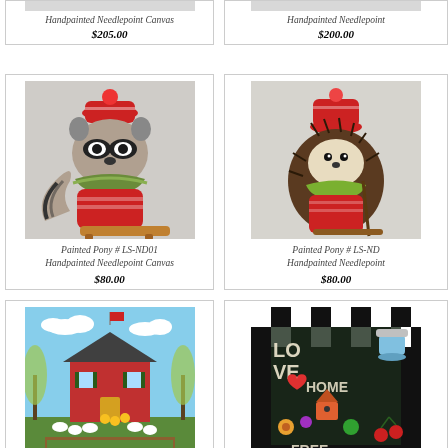[Figure (photo): Handpainted needlepoint canvas partially visible at top left]
Handpainted Needlepoint Canvas
$205.00
[Figure (photo): Handpainted needlepoint canvas partially visible at top right]
Handpainted Needlepoint
$200.00
[Figure (photo): Raccoon in red winter hat and sweater on a sled - Painted Pony LS-ND01 Handpainted Needlepoint Canvas]
Painted Pony # LS-ND01
Handpainted Needlepoint Canvas
$80.00
[Figure (photo): Hedgehog in red sweater skiing - Painted Pony LS-ND (partially visible)]
Painted Pony # LS-ND
Handpainted Needlepoint
$80.00
[Figure (photo): Red farmhouse with willow trees and sheep - Painted Pony MC-HS02]
Painted Pony # MC-HS02
[Figure (photo): Love Home Free colorful folk art design - Painted Pony ME-B (partially visible)]
Painted Pony # ME-B